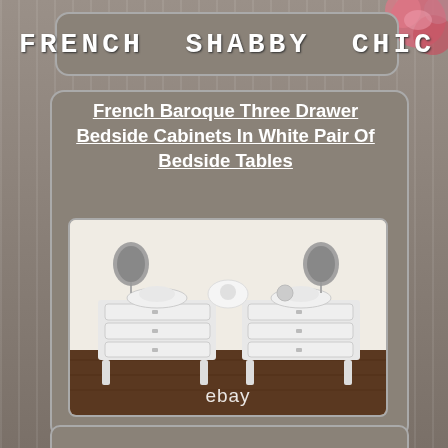FRENCH SHABBY CHIC
French Baroque Three Drawer Bedside Cabinets In White Pair Of Bedside Tables
[Figure (photo): Photo of two white French baroque three-drawer bedside cabinets with decorative carved tops, grey lamps on top, displayed on wood floor. eBay watermark visible at bottom.]